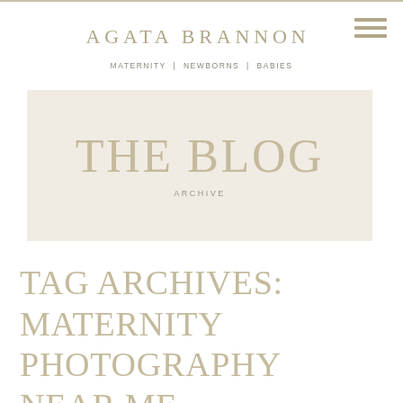AGATA BRANNON
MATERNITY | NEWBORNS | BABIES
THE BLOG
ARCHIVE
TAG ARCHIVES: MATERNITY PHOTOGRAPHY NEAR ME